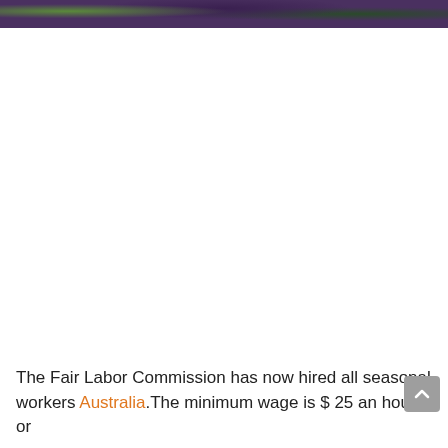[Figure (photo): Partial photograph visible at the top of the page, showing people outdoors with purple/dark tones and green foliage.]
The Fair Labor Commission has now hired all seasonal workers Australia.The minimum wage is $ 25 an hour, or